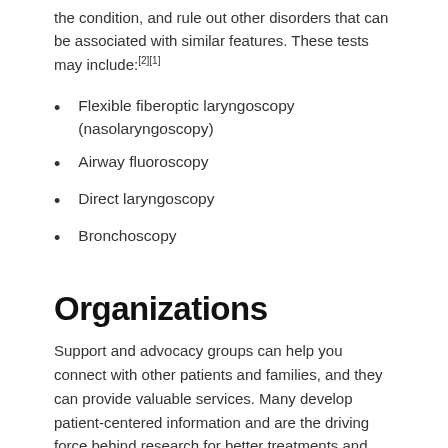the condition, and rule out other disorders that can be associated with similar features. These tests may include:[2][1]
Flexible fiberoptic laryngoscopy (nasolaryngoscopy)
Airway fluoroscopy
Direct laryngoscopy
Bronchoscopy
Organizations
Support and advocacy groups can help you connect with other patients and families, and they can provide valuable services. Many develop patient-centered information and are the driving force behind research for better treatments and